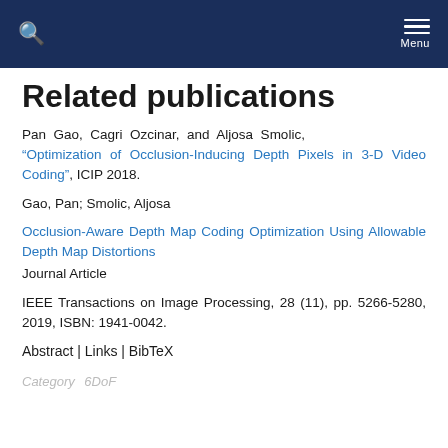Search | Menu
Related publications
Pan Gao, Cagri Ozcinar, and Aljosa Smolic, "Optimization of Occlusion-Inducing Depth Pixels in 3-D Video Coding", ICIP 2018.
Gao, Pan; Smolic, Aljosa
Occlusion-Aware Depth Map Coding Optimization Using Allowable Depth Map Distortions
Journal Article
IEEE Transactions on Image Processing, 28 (11), pp. 5266-5280, 2019, ISBN: 1941-0042.
Abstract | Links | BibTeX
Category  6DoF